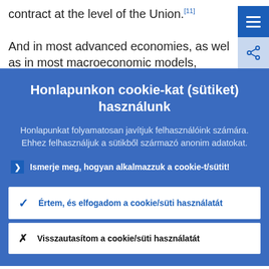contract at the level of the Union.[11]
And in most advanced economies, as well as in most macroeconomic models,
Honlapunkon cookie-kat (sütiket) használunk
Honlapunkat folyamatosan javítjuk felhasználóink számára. Ehhez felhasználjuk a sütikből származó anonim adatokat.
Ismerje meg, hogyan alkalmazzuk a cookie-t/sütit!
Értem, és elfogadom a cookie/süti használatát
Visszautasítom a cookie/süti használatát